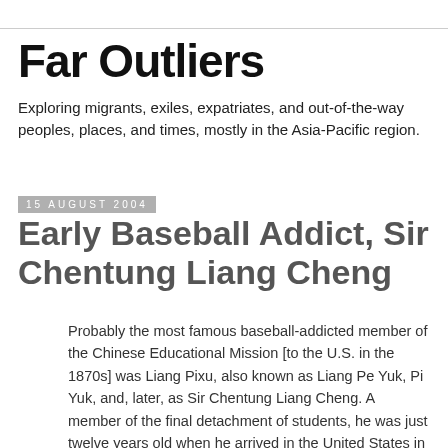Far Outliers
Exploring migrants, exiles, expatriates, and out-of-the-way peoples, places, and times, mostly in the Asia-Pacific region.
15 August 2004
Early Baseball Addict, Sir Chentung Liang Cheng
Probably the most famous baseball-addicted member of the Chinese Educational Mission [to the U.S. in the 1870s] was Liang Pixu, also known as Liang Pe Yuk, Pi Yuk, and, later, as Sir Chentung Liang Cheng. A member of the final detachment of students, he was just twelve years old when he arrived in the United States in 1875. He was in his third year of college preparatory work at Phillips Andover Academy when the mission was scuttled in 1881. Liang Pixu would